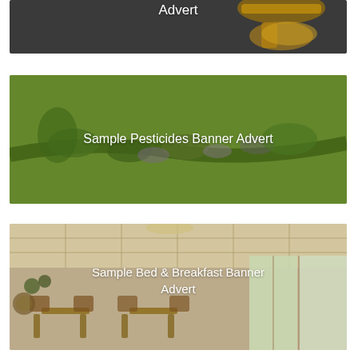[Figure (photo): Dark background with a golden gavel. White text overlay reads 'Advert' (partially visible at top of page).]
[Figure (photo): Green background showing a close-up of a plant/wheat-like stem with buds. White text overlay reads 'Sample Pesticides Banner Advert'.]
[Figure (photo): Indoor dining room / conservatory with tables and chairs. White text overlay reads 'Sample Bed & Breakfast Banner Advert'.]